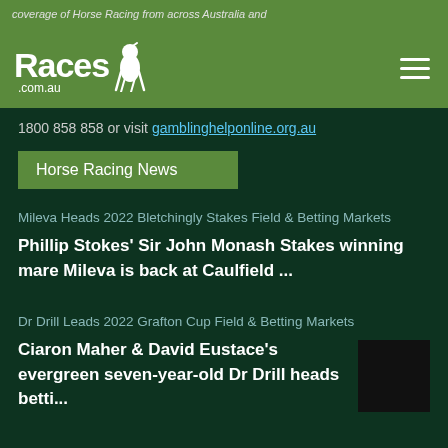coverage of Horse Racing from across Australia and
[Figure (logo): Races.com.au logo with horse and jockey icon on green background, hamburger menu icon on right]
1800 858 858 or visit gamblinghelponline.org.au
Horse Racing News
Mileva Heads 2022 Bletchingly Stakes Field & Betting Markets
Phillip Stokes' Sir John Monash Stakes winning mare Mileva is back at Caulfield ...
Dr Drill Leads 2022 Grafton Cup Field & Betting Markets
Ciaron Maher & David Eustace's evergreen seven-year-old Dr Drill heads betti...